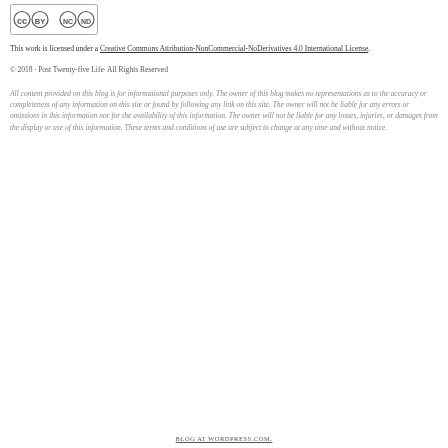[Figure (logo): Creative Commons BY NC ND license logo badge]
This work is licensed under a Creative Commons Attribution-NonCommercial-NoDerivatives 4.0 International License.
© 2018 · Post Twenty-five Life· All Rights Reserved
All content provided on this blog is for informational purposes only. The owner of this blog makes no representations as to the accuracy or completeness of any information on this site or found by following any link on this site. The owner will not be liable for any errors or omissions in this information nor for the availability of this information. The owner will not be liable for any losses, injuries, or damages from the display or use of this information. These terms and conditions of use are subject to change at any time and without notice.
BLOG AT WORDPRESS.COM.